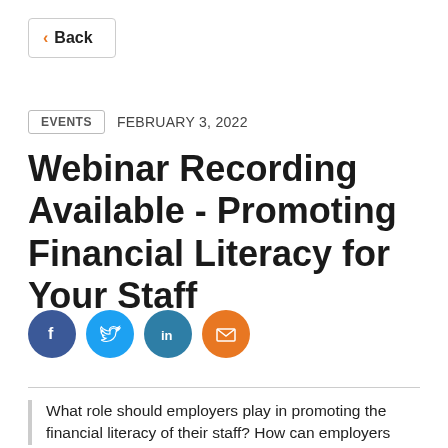< Back
EVENTS   FEBRUARY 3, 2022
Webinar Recording Available - Promoting Financial Literacy for Your Staff
[Figure (other): Social media share icons: Facebook, Twitter, LinkedIn, Email]
What role should employers play in promoting the financial literacy of their staff? How can employers support staff wellbeing by pointing them to things that...